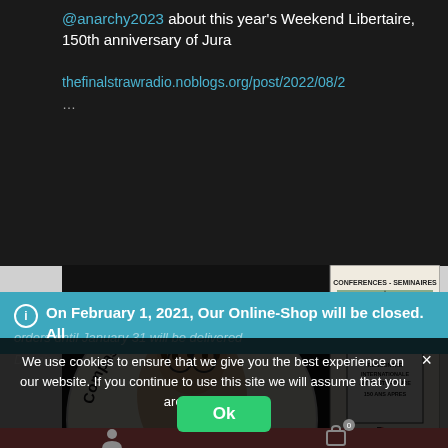@anarchy2023 about this year's Weekend Libertaire, 150th anniversary of Jura
thefinalstrawradio.noblogs.org/post/2022/08/2
...
[Figure (photo): Circular badge reading 'Compassionate Release Free Dr. ... Shakur' with an illustration of a Black man with dreadlocks and glasses. Beside it, a conference poster reading 'CONFERENCES - SEMINAIRES RENCONTRE INTERNATIONALE ANTI-AUTORITAIRE 150 ANS APRES' with illustrations.]
On February 1, 2021, Our Online-Shop will be closed. All
orders until January 31 will be delivered
Dismiss
We use cookies to ensure that we give you the best experience on our website. If you continue to use this site we will assume that you are happy with it.
Ok